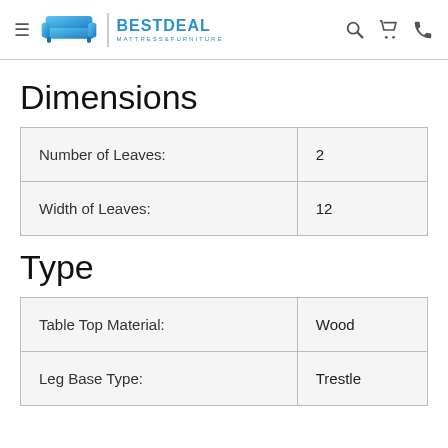[Figure (logo): BestDeal Mattress & Furniture logo with blue sofa icon and brand name]
Dimensions
|  |  |
| --- | --- |
| Number of Leaves: | 2 |
| Width of Leaves: | 12 |
Type
|  |  |
| --- | --- |
| Table Top Material: | Wood |
| Leg Base Type: | Trestle |